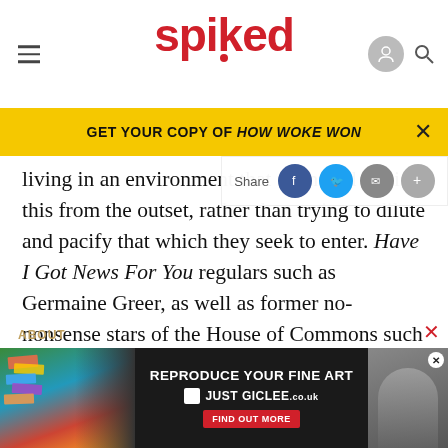spiked
GET YOUR COPY OF HOW WOKE WON
living in an environment that re should realise this from the outset, rather than trying to dilute and pacify that which they seek to enter. Have I Got News For You regulars such as Germaine Greer, as well as former no-nonsense stars of the House of Commons such as Margaret Thatcher, don't or didn't start crying when they get or got insulted, because they understood the nature of the beast.
[Figure (screenshot): Advertisement for REPRODUCE YOUR FINE ART / JUST GICLEE with dark background and colorful art supply image]